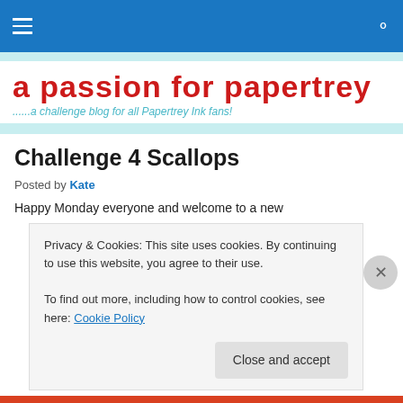Navigation bar with hamburger menu and search icon on blue background
a passion for papertrey
......a challenge blog for all Papertrey Ink fans!
Challenge 4 Scallops
Posted by Kate
Happy Monday everyone and welcome to a new
Privacy & Cookies: This site uses cookies. By continuing to use this website, you agree to their use.
To find out more, including how to control cookies, see here: Cookie Policy
Close and accept